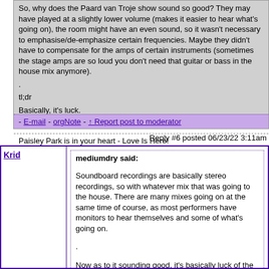So, why does the Paard van Troje show sound so good? They may have played at a slightly lower volume (makes it easier to hear what's going on), the room might have an even sound, so it wasn't necessary to emphasise/de-emphasize certain frequencies. Maybe they didn't have to compensate for the amps of certain instruments (sometimes the stage amps are so loud you don't need that guitar or bass in the house mix anymore).
tl;dr
Basically, it's luck.
[Edited 6/22/22 15:41pm]
Paisley Park is in your heart - Love Is Here!
- E-mail - orgNote - ↑ Report post to moderator
Reply #6 posted 06/23/22 3:11am
Krid
mediumdry said:
Soundboard recordings are basically stereo recordings, so with whatever mix that was going to the house. There are many mixes going on at the same time of course, as most performers have monitors to hear themselves and some of what's going on.
.
Now as to it sounding good, it's basically luck of the draw. The house mix has to compensate for the sound of the room, which is why the sound can vary wildly.
.
If you look at the one nite alone live cds, they also came from a variety of a direct-to-stereo mix, according to, I think it was Femi who did them?
.
Best case scenario, you have multitrack audio, which is why they could have such an improved sound on the Syracuse 85 re-issue.
.
So, why does the Paard van Troje show sound so good? They may have played at a slightly lower volume (makes it easier to hear what's going on), the room might have an even sound, so it